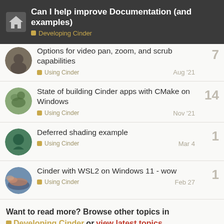Can I help improve Documentation (and examples) — Developing Cinder
Options for video pan, zoom, and scrub capabilities — Using Cinder — Aug '21 — 7 replies
State of building Cinder apps with CMake on Windows — Using Cinder — Nov '21 — 14 replies
Deferred shading example — Using Cinder — Mar 4 — 1 reply
Cinder with WSL2 on Windows 11 - wow — Using Cinder — Feb 27 — 1 reply
Want to read more? Browse other topics in Developing Cinder or view latest topics.